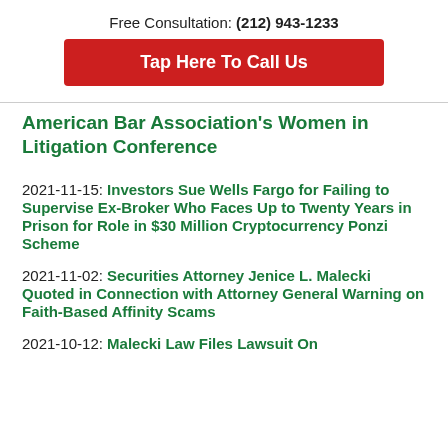Free Consultation: (212) 943-1233
Tap Here To Call Us
American Bar Association's Women in Litigation Conference
2021-11-15: Investors Sue Wells Fargo for Failing to Supervise Ex-Broker Who Faces Up to Twenty Years in Prison for Role in $30 Million Cryptocurrency Ponzi Scheme
2021-11-02: Securities Attorney Jenice L. Malecki Quoted in Connection with Attorney General Warning on Faith-Based Affinity Scams
2021-10-12: Malecki Law Files Lawsuit On